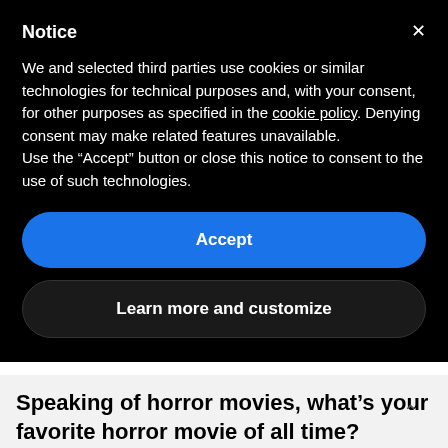Notice
We and selected third parties use cookies or similar technologies for technical purposes and, with your consent, for other purposes as specified in the cookie policy. Denying consent may make related features unavailable.
Use the “Accept” button or close this notice to consent to the use of such technologies.
Accept
Learn more and customize
Speaking of horror movies, what’s your favorite horror movie of all time?
My favorite horror of all time? I love horror movies… I’m going to give three: a film from the UK called “Possum” – I recommend it, even though it’s in English, I put on the subtitles